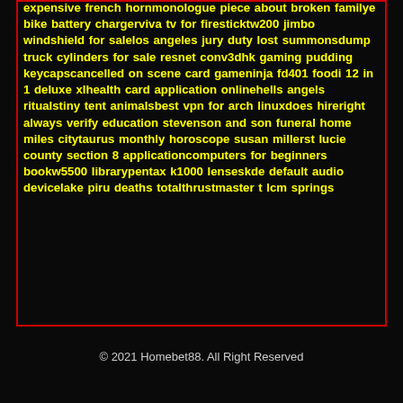expensive french hornmonologue piece about broken familye bike battery chargerviva tv for firesticktw200 jimbo windshield for salelos angeles jury duty lost summonsdump truck cylinders for sale resnet conv3dhk gaming pudding keycapscancelled on scene card gameninja fd401 foodi 12 in 1 deluxe xlhealth card application onlinehells angels ritualstiny tent animalsbest vpn for arch linuxdoes hireright always verify education stevenson and son funeral home miles citytaurus monthly horoscope susan millerst lucie county section 8 applicationcomputers for beginners bookw5500 librarypentax k1000 lenseskde default audio devicelake piru deaths totalthrustmaster t lcm springs
© 2021 Homebet88. All Right Reserved